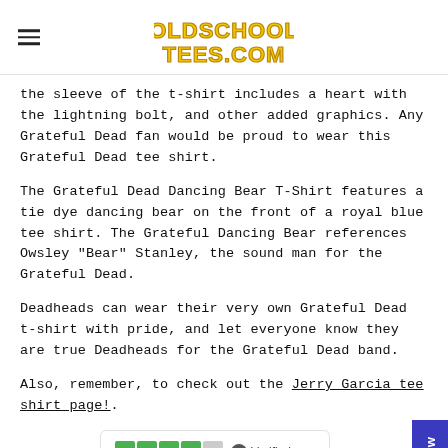OldSchoolTees.com
the sleeve of the t-shirt includes a heart with the lightning bolt, and other added graphics. Any Grateful Dead fan would be proud to wear this Grateful Dead tee shirt.
The Grateful Dead Dancing Bear T-Shirt features a tie dye dancing bear on the front of a royal blue tee shirt. The Grateful Dancing Bear references Owsley “Bear” Stanley, the sound man for the Grateful Dead.
Deadheads can wear their very own Grateful Dead t-shirt with pride, and let everyone know they are true Deadheads for the Grateful Dead band.
Also, remember, to check out the Jerry Garcia tee shirt page!.
I’ve been searching for this t-shirt...